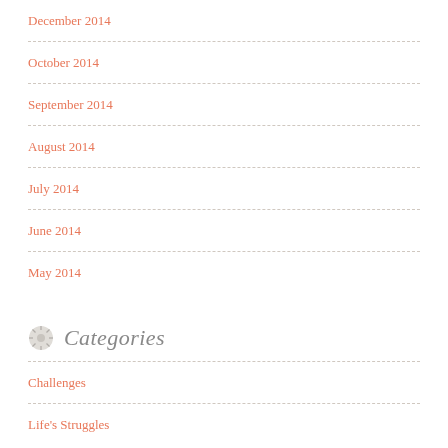December 2014
October 2014
September 2014
August 2014
July 2014
June 2014
May 2014
Categories
Challenges
Life's Struggles